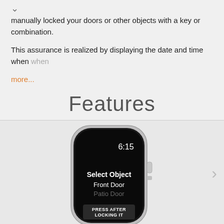manually locked your doors or other objects with a key or combination.
This assurance is realized by displaying the date and time when more...
Features
[Figure (screenshot): Apple Watch screenshot showing a lock app interface with 'Select Object', 'Front Door', 'Patio Door' options and 'PRESS AFTER LOCKING IT' button, time shows 6:15]